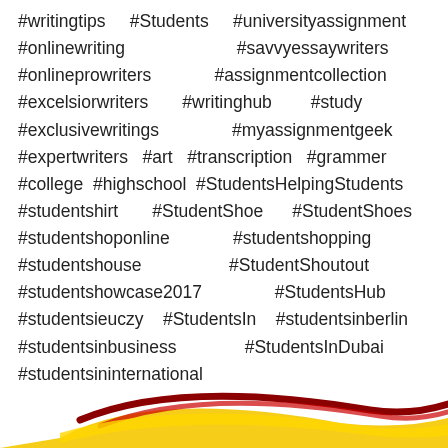#writingtips #Students #universityassignment #onlinewriting #savvyessaywriters #onlineprowriters #assignmentcollection #excelsiorwriters #writinghub #study #exclusivewritings #myassignmentgeek #expertwriters #art #transcription #grammer #college #highschool #StudentsHelpingStudents #studentshirt #StudentShoe #StudentShoes #studentshoponline #studentshopping #studentshouse #StudentShoutout #studentshowcase2017 #StudentsHub #studentsieuczy #StudentsIn #studentsinberlin #studentsinbusiness #StudentsInDubai #studentsininternational
[Figure (logo): Partial logo at the bottom — red and yellow swoosh/car shape]